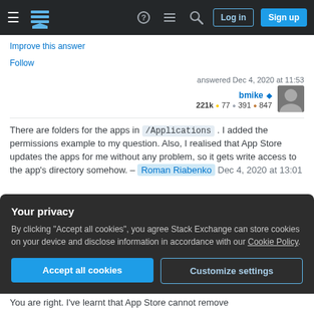Stack Exchange navigation bar with Log in and Sign up buttons
Improve this answer
Follow
answered Dec 4, 2020 at 11:53
bmike ◆ 221k • 77 • 391 • 847
There are folders for the apps in /Applications . I added the permissions example to my question. Also, I realised that App Store updates the apps for me without any problem, so it gets write access to the app's directory somehow. – Roman Riabenko Dec 4, 2020 at 13:01
Your privacy
By clicking "Accept all cookies", you agree Stack Exchange can store cookies on your device and disclose information in accordance with our Cookie Policy.
Accept all cookies
Customize settings
You are right. I've learnt that App Store cannot remove